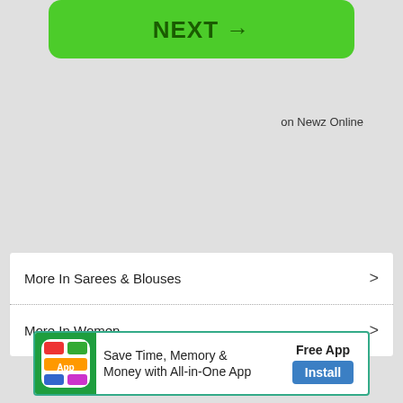[Figure (screenshot): Green NEXT button with arrow]
on Newz Online
More In Sarees & Blouses >
More In Women >
[Figure (infographic): Advertisement: Save Time, Memory & Money with All-in-One App. Free App. Install button.]